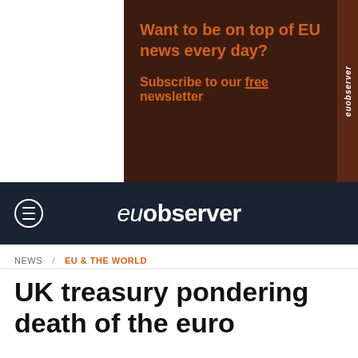[Figure (screenshot): EUobserver advertisement banner with dark brown background, orange bold text reading 'Want to be on top of EU news every day?' and 'Subscribe to our free newsletter', with vertical euobserver logo on right side]
euobserver
NEWS / EU & THE WORLD
UK treasury pondering death of the euro
[Figure (photo): Dramatic cloudy sky with dark storm clouds]
Support quality EU news
JOIN US